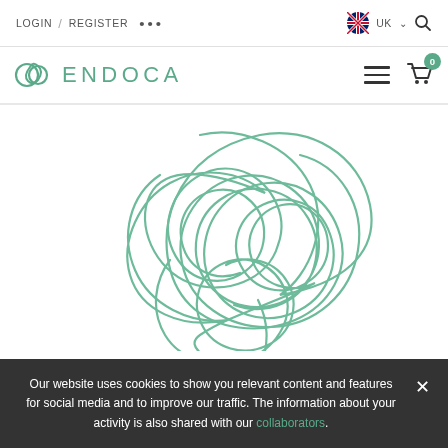LOGIN / REGISTER • • •   UK
[Figure (logo): Endoca logo with stylized leaf/loop icon in teal and uppercase ENDOCA text]
[Figure (illustration): Abstract green tangled line/scribble illustration forming a loose ball shape]
Our website uses cookies to show you relevant content and features for social media and to improve our traffic. The information about your activity is also shared with our collaborators.